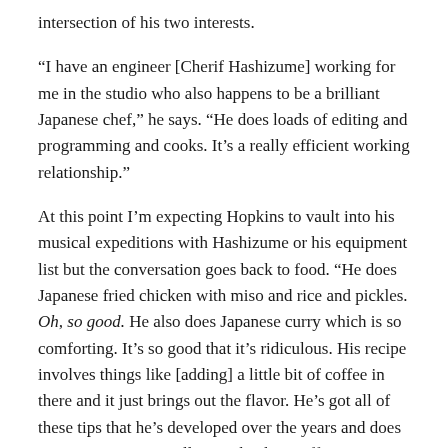intersection of his two interests.
“I have an engineer [Cherif Hashizume] working for me in the studio who also happens to be a brilliant Japanese chef,” he says. “He does loads of editing and programming and cooks. It’s a really efficient working relationship.”
At this point I’m expecting Hopkins to vault into his musical expeditions with Hashizume or his equipment list but the conversation goes back to food. “He does Japanese fried chicken with miso and rice and pickles. Oh, so good. He also does Japanese curry which is so comforting. It’s so good that it’s ridiculous. His recipe involves things like [adding] a little bit of coffee in there and it just brings out the flavor. He’s got all of these tips that he’s developed over the years and does amazing gyoza as well. We take that stuff very seriously.”
Hopkins looks down at my recorder — a visual reminder we’ve met to talk about Immunity — and laughs.
“Back to the music!”